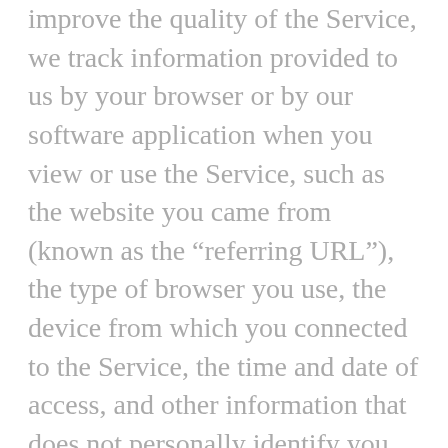improve the quality of the Service, we track information provided to us by your browser or by our software application when you view or use the Service, such as the website you came from (known as the “referring URL”), the type of browser you use, the device from which you connected to the Service, the time and date of access, and other information that does not personally identify you. We track this information using cookies, or small text files which include an anonymous unique identifier. Cookies are sent to a user’s browser from our servers and are stored on the user’s computer hard drive. Sending a cookie to a user’s browser enables us to collect Non-Personal information about that user and keep a record